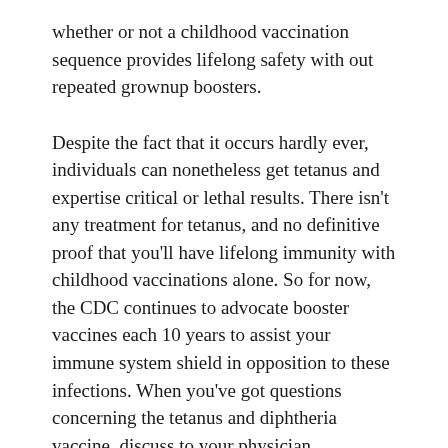whether or not a childhood vaccination sequence provides lifelong safety with out repeated grownup boosters.
Despite the fact that it occurs hardly ever, individuals can nonetheless get tetanus and expertise critical or lethal results. There isn't any treatment for tetanus, and no definitive proof that you'll have lifelong immunity with childhood vaccinations alone. So for now, the CDC continues to advocate booster vaccines each 10 years to assist your immune system shield in opposition to these infections. When you've got questions concerning the tetanus and diphtheria vaccine, discuss to your physician.